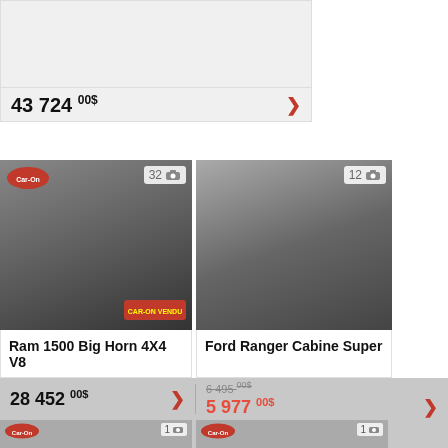[Figure (photo): Partial vehicle listing card at top, cropped, showing light gray background]
43 724 00$
[Figure (photo): Ram 1500 Big Horn 4X4 V8 black truck photo with Car-On badge, 32 photos]
Ram 1500 Big Horn 4X4 V8
[Figure (photo): Ford Ranger Cabine Super black truck photo, 12 photos]
Ford Ranger Cabine Super
28 452 00$
6 495 00$
5 977 00$
[Figure (photo): Partial vehicle thumbnail at bottom left, Car-On badge, 1 photo]
[Figure (photo): Partial vehicle thumbnail at bottom right, Car-On badge, 1 photo]